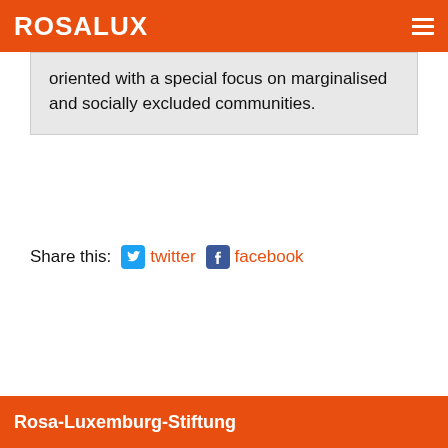ROSALUX
oriented with a special focus on marginalised and socially excluded communities.
Share this: twitter facebook
Go back
Rosa-Luxemburg-Stiftung